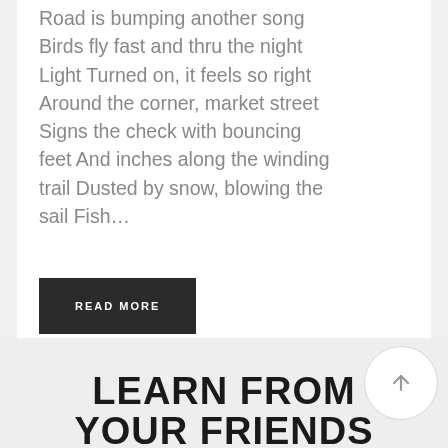Road is bumping another song Birds fly fast and thru the night Light Turned on, it feels so right Around the corner, market street Signs the check with bouncing feet And inches along the winding trail Dusted by snow, blowing the sail Fish…
READ MORE
LEARN FROM YOUR FRIENDS